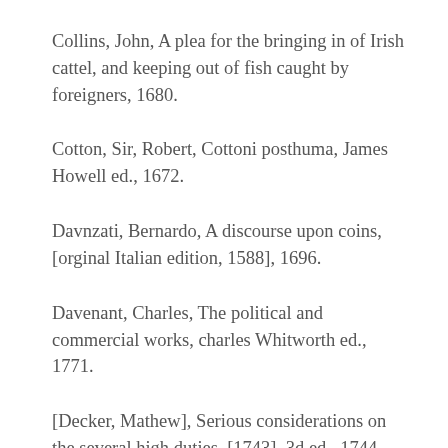Collins, John, A plea for the bringing in of Irish cattel, and keeping out of fish caught by foreigners, 1680.
Cotton, Sir, Robert, Cottoni posthuma, James Howell ed., 1672.
Davnzati, Bernardo, A discourse upon coins, [orginal Italian edition, 1588], 1696.
Davenant, Charles, The political and commercial works, charles Whitworth ed., 1771.
[Decker, Mathew], Serious considerations on the several high duties, [1743], 3d ed., 1744.